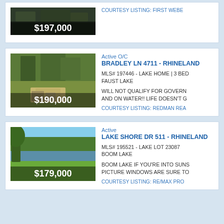[Figure (photo): Top partial listing photo with $197,000 price overlay, dark wooded property]
$197,000
COURTESY LISTING: FIRST WEBE
[Figure (photo): Second listing photo with $190,000 price overlay, wooded lake home on Bradley Ln]
$190,000
Active O/C
BRADLEY LN 4711 - RHINELAND
MLS# 197446 - LAKE HOME | 3 BED
FAUST LAKE
WILL NOT QUALIFY FOR GOVERN
AND ON WATER!! LIFE DOESN'T G
COURTESY LISTING: REDMAN REA
[Figure (photo): Third listing photo with $179,000 price overlay, lakefront lot on Lake Shore Dr]
$179,000
Active
LAKE SHORE DR 511 - RHINEL
MLS# 195521 - LAKE LOT 23087
BOOM LAKE
BOOM LAKE IF YOU'RE INTO SUNS
PICTURE WINDOWS ARE SURE TO
COURTESY LISTING: RE/MAX PRO